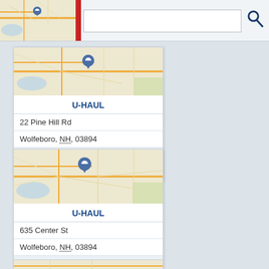[Figure (screenshot): Top bar with map thumbnail showing location pin, red vertical bar, search input box, and search icon]
[Figure (map): Map thumbnail showing road map with blue location pin marker for first U-Haul listing]
U-HAUL
22 Pine Hill Rd
Wolfeboro, NH, 03894
6035692506
Truck Sales
[Figure (map): Map thumbnail showing road map with blue location pin marker for second U-Haul listing]
U-HAUL
635 Center St
Wolfeboro, NH, 03894
6035692506
Truck Rental
Truck Sales
Uhaul Trailer Rental